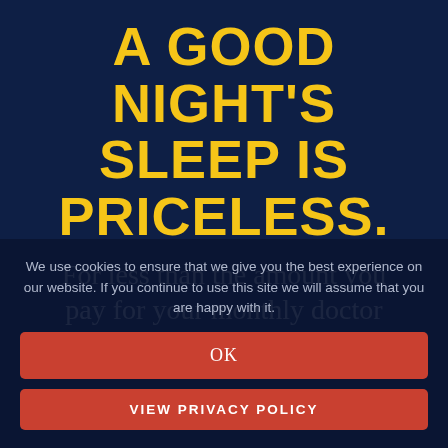A GOOD NIGHT'S SLEEP IS PRICELESS.
For less than the amount you pay for your monthly doctor
We use cookies to ensure that we give you the best experience on our website. If you continue to use this site we will assume that you are happy with it.
OK
VIEW PRIVACY POLICY